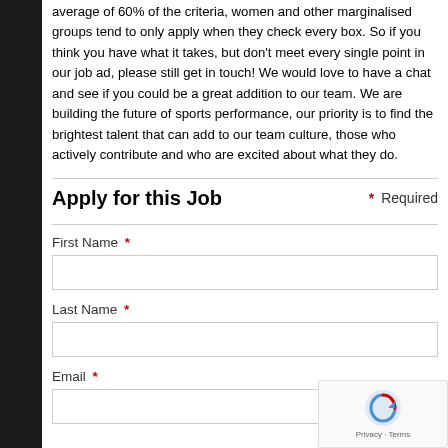average of 60% of the criteria, women and other marginalised groups tend to only apply when they check every box. So if you think you have what it takes, but don't meet every single point in our job ad, please still get in touch! We would love to have a chat and see if you could be a great addition to our team. We are building the future of sports performance, our priority is to find the brightest talent that can add to our team culture, those who actively contribute and who are excited about what they do.
Apply for this Job
* Required
First Name *
Last Name *
Email *